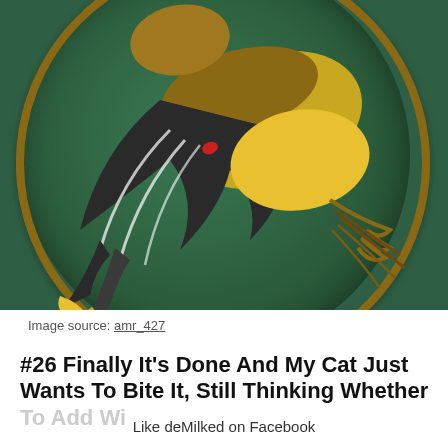[Figure (photo): Close-up photo of an embroidered bird (goldfinch-like, with yellow and dark feathers) on a dark green fabric in a circular embroidery hoop with a wooden frame. The bird shows detailed wing feathers with yellow accents and the image is cropped so only the body and hoop are visible.]
Image source: amr_427
#26 Finally It's Done And My Cat Just Wants To Bite It, Still Thinking Whether To Add Wi...
Like deMilked on Facebook